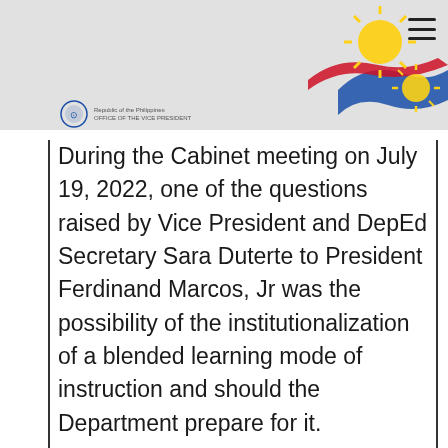[Figure (illustration): Philippine government website header with crowd background, Philippine flag sun and stripes decorative emblem in top right corner, and hamburger menu icon]
[Figure (logo): Philippine government seal/logo with small circular emblem and text beside it]
During the Cabinet meeting on July 19, 2022, one of the questions raised by Vice President and DepEd Secretary Sara Duterte to President Ferdinand Marcos, Jr was the possibility of the institutionalization of a blended learning mode of instruction and should the Department prepare for it.
The President agreed that a plan should be made with a caveat that face-to-face classes